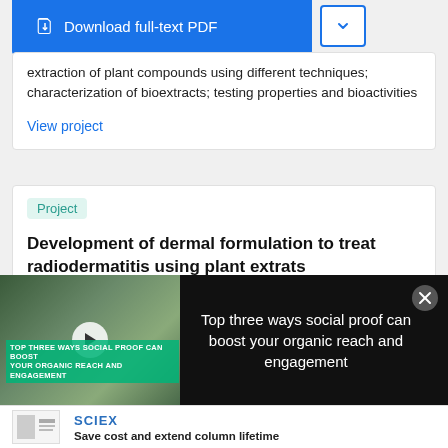[Figure (screenshot): Download full-text PDF button with blue background and a chevron dropdown button]
extraction of plant compounds using different techniques; characterization of bioextracts; testing properties and bioactivities
View project
Project
Development of dermal formulation to treat radiodermatitis using plant extrats
[Figure (screenshot): Video overlay showing scientists in a lab with title 'Top three ways social proof can boost your organic reach and engagement']
[Figure (logo): SCIEX logo with text 'Save cost and extend column lifetime']